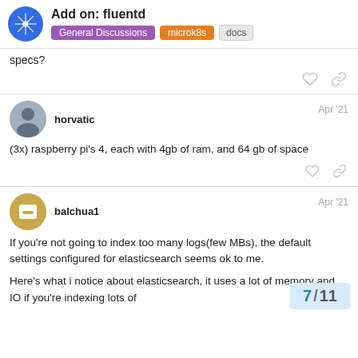Add on: fluentd — General Discussions / microk8s / docs
specs?
horvatic — Apr '21
(3x) raspberry pi's 4, each with 4gb of ram, and 64 gb of space
balchua1 — Apr '21
If you're not going to index too many logs(few MBs), the default settings configured for elasticsearch seems ok to me.
Here's what i notice about elasticsearch, it uses a lot of memory and IO if you're indexing lots of